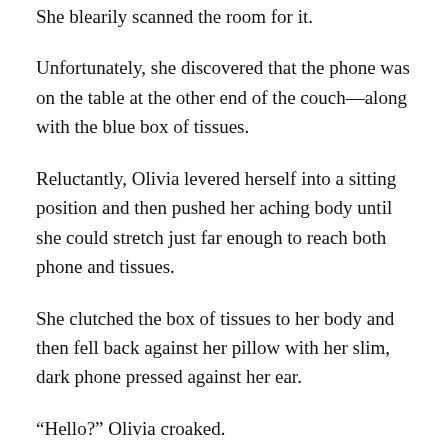She blearily scanned the room for it.
Unfortunately, she discovered that the phone was on the table at the other end of the couch—along with the blue box of tissues.
Reluctantly, Olivia levered herself into a sitting position and then pushed her aching body until she could stretch just far enough to reach both phone and tissues.
She clutched the box of tissues to her body and then fell back against her pillow with her slim, dark phone pressed against her ear.
“Hello?” Olivia croaked.